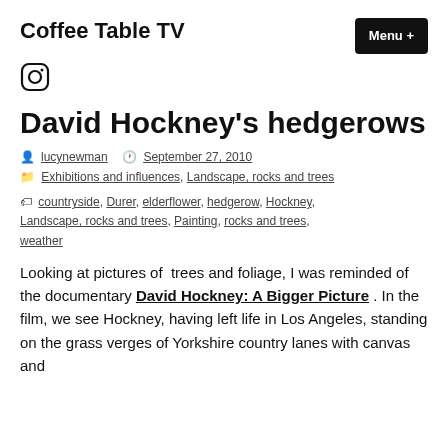Coffee Table TV
[Figure (logo): Instagram icon (circle with rounded square outline)]
David Hockney's hedgerows
lucynewman  September 27, 2010
Exhibitions and influences, Landscape, rocks and trees
countryside, Durer, elderflower, hedgerow, Hockney, Landscape, rocks and trees, Painting, rocks and trees, weather
Looking at pictures of  trees and foliage, I was reminded of the documentary David Hockney: A Bigger Picture . In the film, we see Hockney, having left life in Los Angeles, standing on the grass verges of Yorkshire country lanes with canvas and